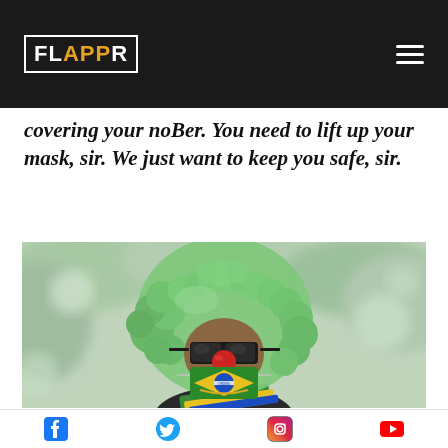FLAPPR
covering your noBer. You need to lift up your mask, sir. We just want to keep you safe, sir.
[Figure (photo): Person wearing a green curly clown wig, black sunglasses, red clown nose, and a Brazilian flag face mask, photographed outdoors with blurred foliage in the background.]
Social media icons: Facebook, Twitter, Instagram, YouTube